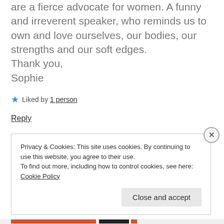are a fierce advocate for women. A funny and irreverent speaker, who reminds us to own and love ourselves, our bodies, our strengths and our soft edges.
Thank you,
Sophie
★ Liked by 1 person
Reply
Privacy & Cookies: This site uses cookies. By continuing to use this website, you agree to their use.
To find out more, including how to control cookies, see here: Cookie Policy